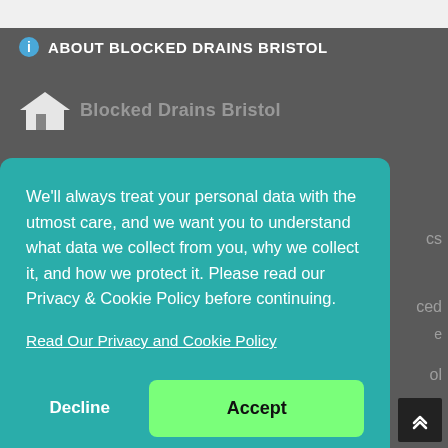ABOUT BLOCKED DRAINS BRISTOL
[Figure (logo): House/roof logo icon for Blocked Drains Bristol, partially visible]
We'll always treat your personal data with the utmost care, and we want you to understand what data we collect from you, why we collect it, and how we protect it. Please read our Privacy & Cookie Policy before continuing.
Read Our Privacy and Cookie Policy
Decline
Accept